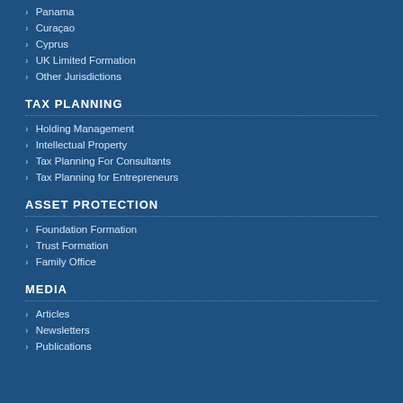Panama
Curaçao
Cyprus
UK Limited Formation
Other Jurisdictions
TAX PLANNING
Holding Management
Intellectual Property
Tax Planning For Consultants
Tax Planning for Entrepreneurs
ASSET PROTECTION
Foundation Formation
Trust Formation
Family Office
MEDIA
Articles
Newsletters
Publications